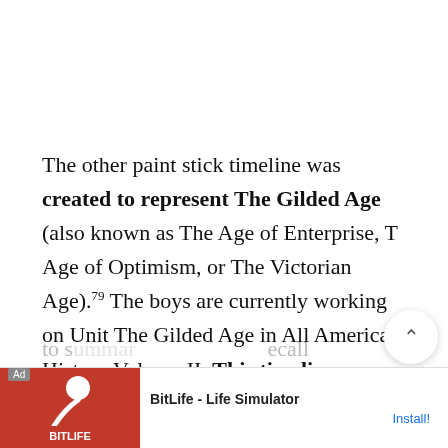The other paint stick timeline was created to represent The Gilded Age (also known as The Age of Enterprise, The Age of Optimism, or The Victorian Age).79 The boys are currently working on Unit The Gilded Age in All American History Volume II. This timeline activity helped to s... ecall of t...
[Figure (screenshot): Mobile app advertisement for BitLife - Life Simulator with Install button]